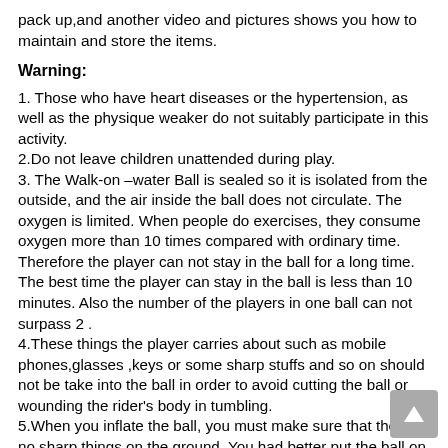pack up,and another video and pictures shows you how to maintain and store the items.
Warning:
1. Those who have heart diseases or the hypertension, as well as the physique weaker do not suitably participate in this activity.
2.Do not leave children unattended during play.
3. The Walk-on –water Ball is sealed so it is isolated from the outside, and the air inside the ball does not circulate. The oxygen is limited. When people do exercises, they consume oxygen more than 10 times compared with ordinary time. Therefore the player can not stay in the ball for a long time. The best time the player can stay in the ball is less than 10 minutes. Also the number of the players in one ball can not surpass 2 .
4.These things the player carries about such as mobile phones,glasses ,keys or some sharp stuffs and so on should not be take into the ball in order to avoid cutting the ball or wounding the rider's body in tumbling.
5.When you inflate the ball, you must make sure that there is no sharp things on the ground. You had better put the ball on the blanket or tarpaulin,when inflating.
6.If the wind is above 5 levels and the wave is higher